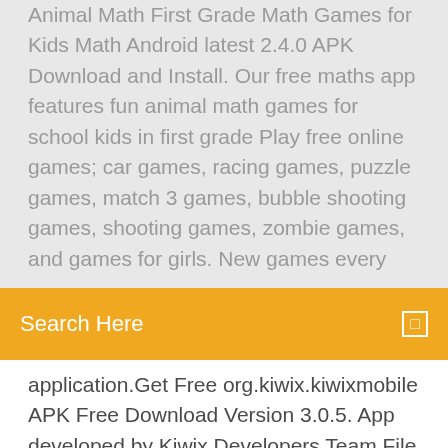Animal Math First Grade Math Games for Kids Math Android latest 2.4.0 APK Download and Install. Our free maths app features fun animal math games for school kids in first grade Play free online games; car games, racing games, puzzle games, match 3 games, bubble shooting games, shooting games, zombie games, and games for girls. New games every
[Figure (screenshot): Orange search bar with 'Search Here' placeholder text and a small square icon on the right]
application.Get Free org.kiwix.kiwixmobile APK Free Download Version 3.0.5. App developed by Kiwix Developers Team File size 27.39 MB. The app also consists of a digital game that kids can play independent of the building set. After launch, the app experience will continue to expand with the addition of new ghosts, new game challenges, and randomization of gameplay so the... Play FREE Unblocked Online Games for school! Choose from any of our games at Games.lol and play these fun unblocked games at school! Free, Fun Online Gameslol So take